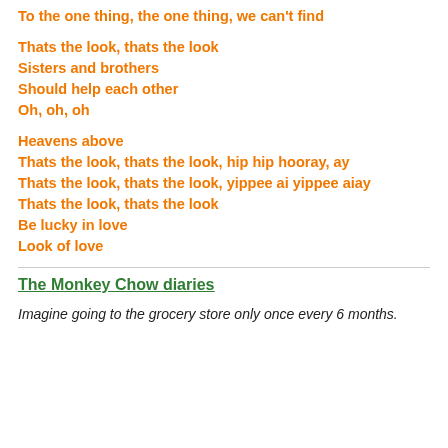To the one thing, the one thing, we can't find
Thats the look, thats the look
Sisters and brothers
Should help each other
Oh, oh, oh
Heavens above
Thats the look, thats the look, hip hip hooray, ay
Thats the look, thats the look, yippee ai yippee aiay
Thats the look, thats the look
Be lucky in love
Look of love
The Monkey Chow diaries
Imagine going to the grocery store only once every 6 months.